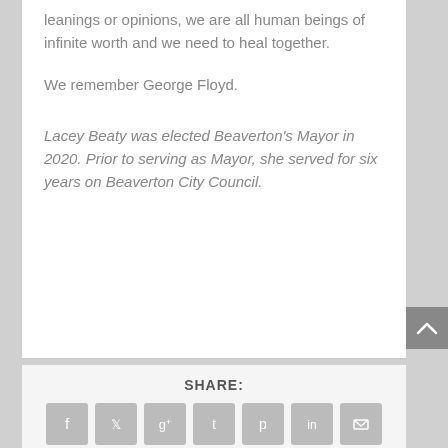leanings or opinions, we are all human beings of infinite worth and we need to heal together.
We remember George Floyd.
Lacey Beaty was elected Beaverton's Mayor in 2020. Prior to serving as Mayor, she served for six years on Beaverton City Council.
SHARE:
[Figure (infographic): Social media share icons: Facebook, Twitter, Google+, Tumblr, Pinterest, LinkedIn, Email]
RATE:
[Figure (infographic): Five star rating icons, all shown in gray]